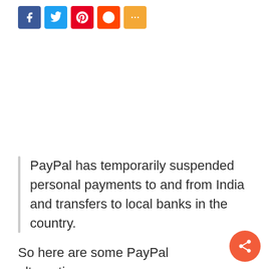[Figure (other): Social media share icons: Facebook (blue), Twitter (light blue), Pinterest (red), Reddit (orange-red), More/share (orange)]
PayPal has temporarily suspended personal payments to and from India and transfers to local banks in the country.
So here are some PayPal alternatives